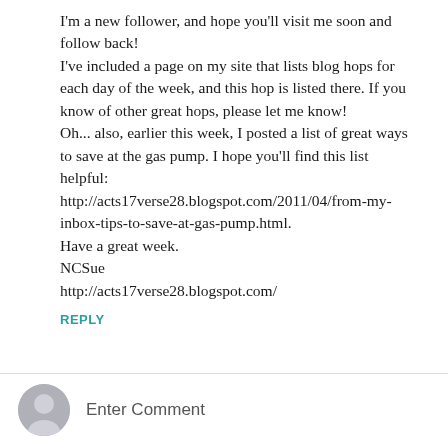I'm a new follower, and hope you'll visit me soon and follow back!
I've included a page on my site that lists blog hops for each day of the week, and this hop is listed there. If you know of other great hops, please let me know!
Oh... also, earlier this week, I posted a list of great ways to save at the gas pump. I hope you'll find this list helpful:
http://acts17verse28.blogspot.com/2011/04/from-my-inbox-tips-to-save-at-gas-pump.html.
Have a great week.
NCSue
http://acts17verse28.blogspot.com/
REPLY
Enter Comment